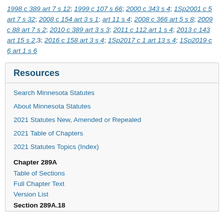1998 c 389 art 7 s 12; 1999 c 107 s 66; 2000 c 343 s 4; 1Sp2001 c 5 art 7 s 32; 2008 c 154 art 3 s 1; art 11 s 4; 2008 c 366 art 5 s 8; 2009 c 88 art 7 s 2; 2010 c 389 art 3 s 3; 2011 c 112 art 1 s 4; 2013 c 143 art 15 s 2,3; 2016 c 158 art 3 s 4; 1Sp2017 c 1 art 13 s 4; 1Sp2019 c 6 art 1 s 6
Resources
Search Minnesota Statutes
About Minnesota Statutes
2021 Statutes New, Amended or Repealed
2021 Table of Chapters
2021 Statutes Topics (Index)
Chapter 289A
Table of Sections
Full Chapter Text
Version List
Section 289A.18